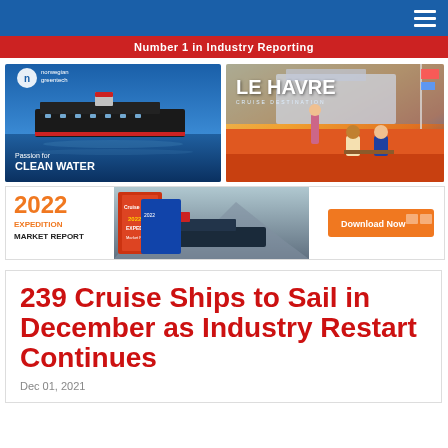Number 1 in Industry Reporting
[Figure (illustration): Norwegian Greentech advertisement showing a cruise ship on blue water with text 'Passion for CLEAN WATER']
[Figure (illustration): Le Havre cruise destination advertisement with colorful illustration of people at outdoor cafe with cruise ship in background]
[Figure (illustration): 2022 Expedition Market Report advertisement with image of expedition ship and Download Now button]
239 Cruise Ships to Sail in December as Industry Restart Continues
Dec 01, 2021